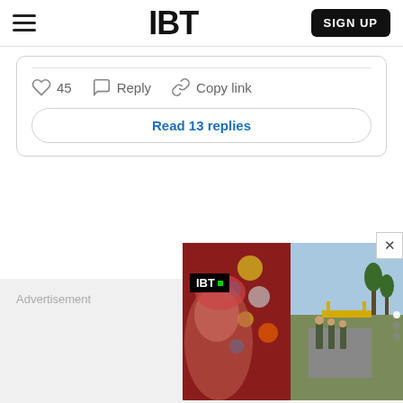IBT  SIGN UP
45  Reply  Copy link
Read 13 replies
[Figure (screenshot): IBT website advertisement overlay showing a close button (X) and a split ad panel: left side shows a red background with a face illustration and colorful circles, with an IBT logo badge; right side shows an outdoor photo of soldiers walking on a road.]
Advertisement